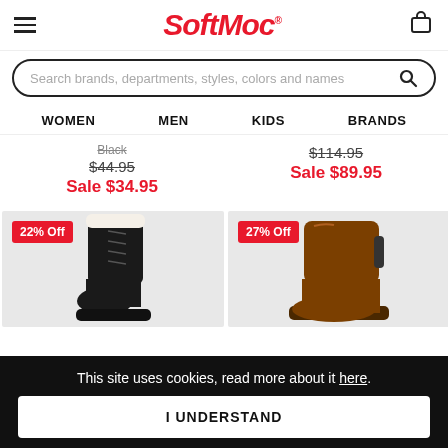SoftMoc
Search brands, departments, styles, colors and names
WOMEN  MEN  KIDS  BRANDS
Black
$44.95
Sale $34.95
$114.95
Sale $89.95
[Figure (photo): 22% Off badge with black winter boot with white fur trim on grey background]
[Figure (photo): 27% Off badge with brown chelsea boot on grey background]
This site uses cookies, read more about it here.
I UNDERSTAND